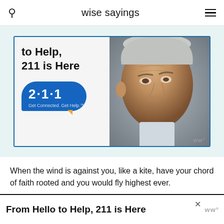wise sayings
[Figure (photo): Advertisement banner: 'From Hello to Help, 211 is Here' with 211 logo bubble and close-up photo of elderly man's face]
When the wind is against you, like a kite, have your chord of faith rooted and you would fly highest ever.
- Vikrmn
[Figure (photo): Bottom advertisement banner: 'From Hello to Help, 211 is Here' with close button and Wm badge]